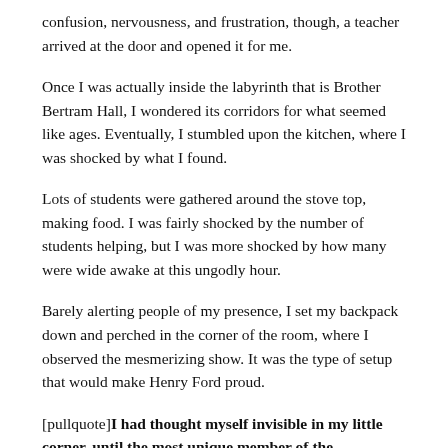confusion, nervousness, and frustration, though, a teacher arrived at the door and opened it for me.
Once I was actually inside the labyrinth that is Brother Bertram Hall, I wondered its corridors for what seemed like ages. Eventually, I stumbled upon the kitchen, where I was shocked by what I found.
Lots of students were gathered around the stove top, making food. I was fairly shocked by the number of students helping, but I was more shocked by how many were wide awake at this ungodly hour.
Barely alerting people of my presence, I set my backpack down and perched in the corner of the room, where I observed the mesmerizing show. It was the type of setup that would make Henry Ford proud.
[pullquote]I had thought myself invisible in my little corner, until the most unique member of the Wellspring